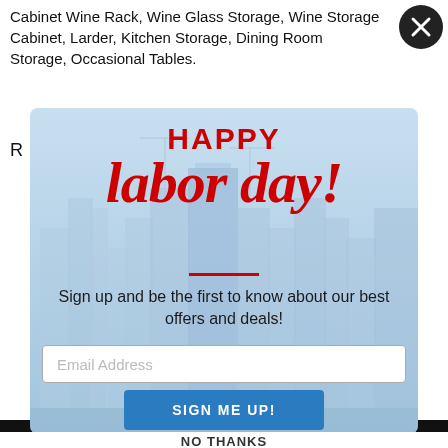Cabinet Wine Rack, Wine Glass Storage, Wine Storage Cabinet, Larder, Kitchen Storage, Dining Room Storage, Occasional Tables.
[Figure (screenshot): Happy Labor Day promotional modal popup with city skyline background, red script 'labor day!' text, email signup form, and 'SIGN ME UP!' button]
Sign up and be the first to know about our best offers and deals!
Email Address
SIGN ME UP!
NO THANKS